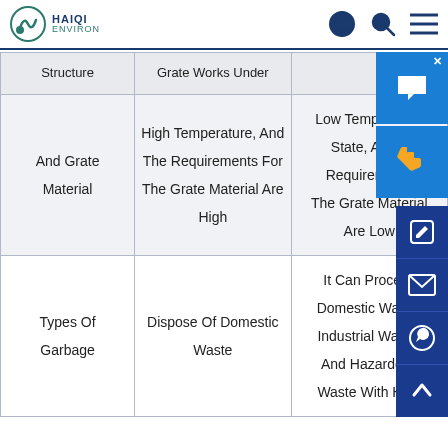HAIQI ENVIRON
| Structure | Grate Works Under |  |
| --- | --- | --- |
| And Grate Material | High Temperature, And The Requirements For The Grate Material Are High | Low Temperature State, And The Requirements The Grate Material Are Low |
| Types Of Garbage | Dispose Of Domestic Waste | It Can Process Domestic Waste, Industrial Waste, And Hazardous Waste With High |